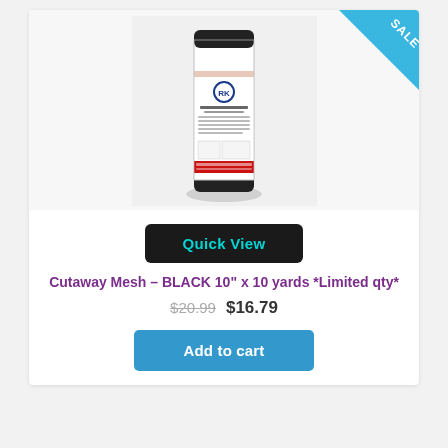[Figure (photo): A roll of PK Black Cutaway Mesh embroidery stabilizer product, shown upright with white and red label, black plastic caps, on a light background. A blue triangular SALE badge is in the top-right corner.]
Quick View
Cutaway Mesh – BLACK 10" x 10 yards *Limited qty*
$20.99  $16.79
Add to cart